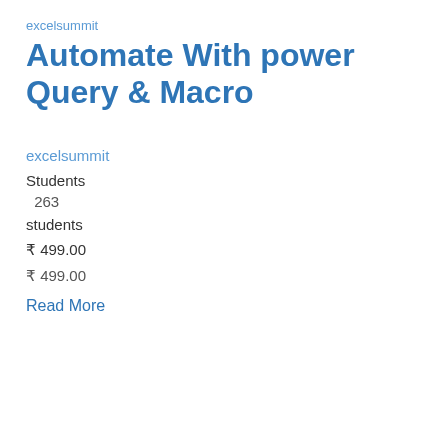excelsummit
Automate With power Query & Macro
excelsummit
Students
263
students
₹ 499.00
₹ 499.00
Read More